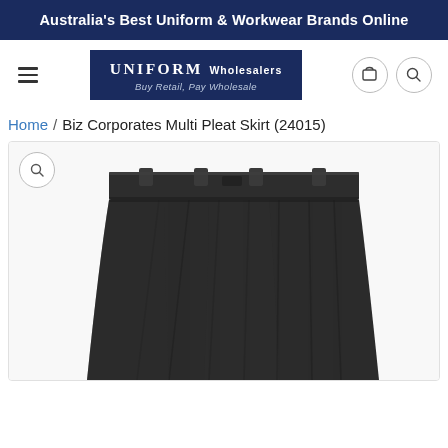Australia's Best Uniform & Workwear Brands Online
[Figure (logo): Uniform Wholesalers logo — dark navy box with text: UNIFORM Wholesalers, Buy Retail, Pay Wholesale]
Home / Biz Corporates Multi Pleat Skirt (24015)
[Figure (photo): Product photo of a dark charcoal/black multi-pleat corporate skirt, showing waistband with belt loops and the pleated skirt body. Cropped at bottom.]